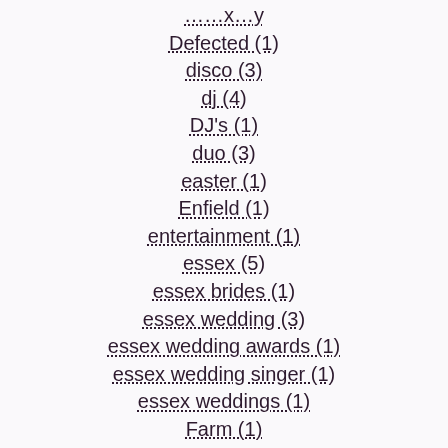…x…y
Defected (1)
disco (3)
dj (4)
DJ's (1)
duo (3)
easter (1)
Enfield (1)
entertainment (1)
essex (5)
essex brides (1)
essex wedding (3)
essex wedding awards (1)
essex wedding singer (1)
essex weddings (1)
Farm (1)
Forty Hall Enfield (1)
Friern Manor (1)
Funky House (1)
Gamboa (1)